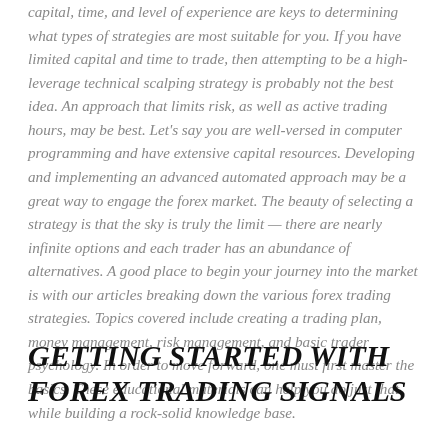capital, time, and level of experience are keys to determining what types of strategies are most suitable for you. If you have limited capital and time to trade, then attempting to be a high-leverage technical scalping strategy is probably not the best idea. An approach that limits risk, as well as active trading hours, may be best. Let's say you are well-versed in computer programming and have extensive capital resources. Developing and implementing an advanced automated approach may be a great way to engage the forex market. The beauty of selecting a strategy is that the sky is truly the limit — there are nearly infinite options and each trader has an abundance of alternatives. A good place to begin your journey into the market is with our articles breaking down the various forex trading strategies. Topics covered include creating a trading plan, money management, risk management, and basic trader psychology. In order to move forward, one must first master the basics. These educational materials can help you do just that while building a rock-solid knowledge base.
GETTING STARTED WITH FOREX TRADING SIGNALS